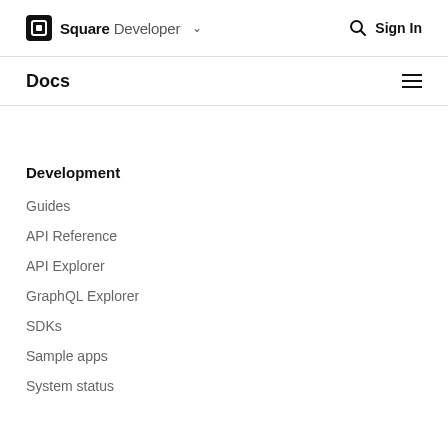Square Developer  Sign In
Docs
Development
Guides
API Reference
API Explorer
GraphQL Explorer
SDKs
Sample apps
System status